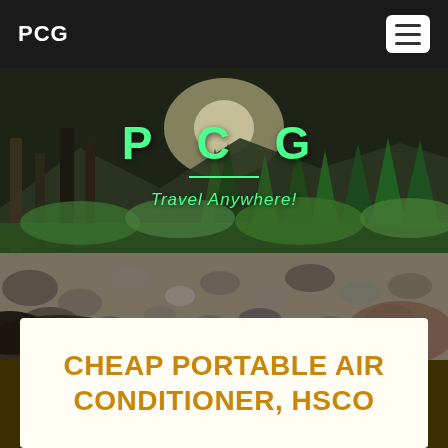PCG
[Figure (photo): Outdoor forest and rocky riverbed landscape. Tall pine trees and lush green forest in background with mountains. Rocky riverbed in foreground. Overlay text: P C G and Travel Anywhere!]
CHEAP PORTABLE AIR CONDITIONER, HSCO